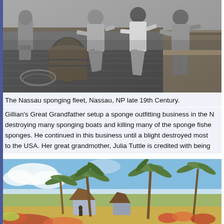[Figure (photo): Black and white photograph of the Nassau sponging fleet workers seated on a boat deck, late 19th Century. Men in work clothes sitting on wooden boat structure with ropes and barrels visible.]
The Nassau sponging fleet, Nassau, NP late 19th Century.
Gillian's Great Grandfather setup a sponge outfitting business in the N... destroying many sponging boats and killing many of the sponge fishe... sponges. He continued in this business until a blight destroyed most ... to the USA. Her great grandmother, Julia Tuttle is credited with being...
[Figure (illustration): Watercolor painting of a tropical Nassau scene with palm trees, thatched-roof huts, blue sky with clouds, and colorful vegetation in the foreground.]